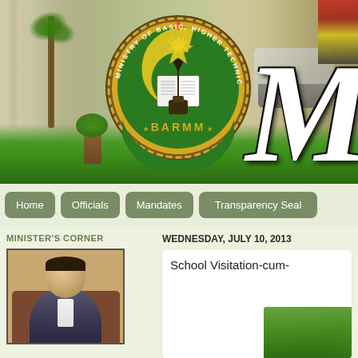[Figure (photo): BARMM Ministry of Basic Technical Education banner with official seal/logo, green landscape, and decorative cursive letter M on the right side]
Home | Officials | Mandates | Transparency Seal
MINISTER'S CORNER
[Figure (photo): Photo of a male official seated in a brown leather chair - the Minister]
WEDNESDAY, JULY 10, 2013
School Visitation-cum-